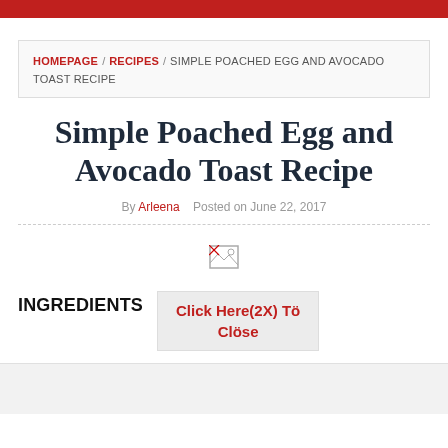HOMEPAGE / RECIPES / SIMPLE POACHED EGG AND AVOCADO TOAST RECIPE
Simple Poached Egg and Avocado Toast Recipe
By Arleena   Posted on June 22, 2017
[Figure (photo): Broken/missing image placeholder]
INGREDIENTS
Click Here(2X) Tö Clöse